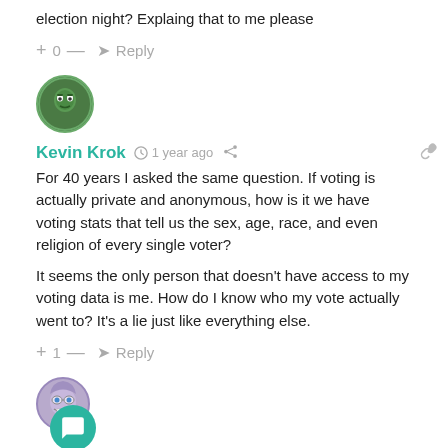election night? Explaing that to me please
+ 0 — Reply
Kevin Krok · 1 year ago
For 40 years I asked the same question. If voting is actually private and anonymous, how is it we have voting stats that tell us the sex, age, race, and even religion of every single voter?
It seems the only person that doesn't have access to my voting data is me. How do I know who my vote actually went to? It's a lie just like everything else.
+ 1 — Reply
1 year ago
How long will it take for Biden to get us in another war ?